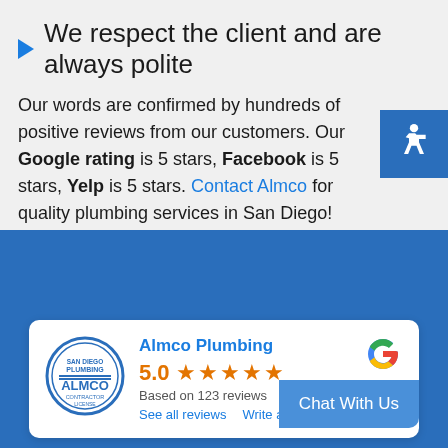We respect the client and are always polite
Our words are confirmed by hundreds of positive reviews from our customers. Our Google rating is 5 stars, Facebook is 5 stars, Yelp is 5 stars. Contact Almco for quality plumbing services in San Diego!
[Figure (logo): Accessibility icon button (wheelchair symbol) on blue background]
[Figure (infographic): Google review card for Almco Plumbing showing 5.0 rating based on 123 reviews with Google G logo and Almco circular seal logo]